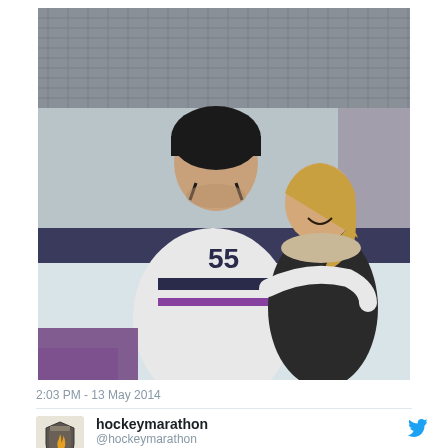[Figure (photo): A man wearing a hockey helmet and white hockey jersey with number 55 hugging a smiling blonde woman inside an ice hockey rink. The rink boards and ice surface are visible in the background.]
2:03 PM - 13 May 2014
[Figure (logo): hockeymarathon Twitter profile avatar - a shield logo with a flame design]
hockeymarathon
@hockeymarathon
Day 10 of #hockeymarathon - Almost there!